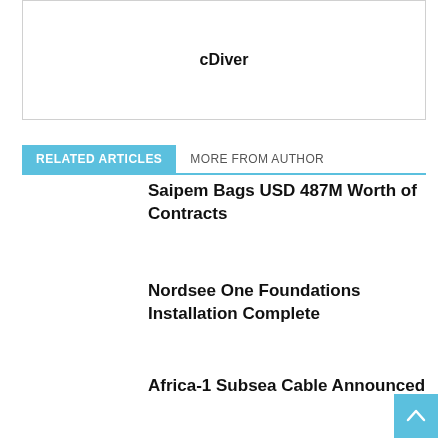cDiver
RELATED ARTICLES
MORE FROM AUTHOR
Saipem Bags USD 487M Worth of Contracts
Nordsee One Foundations Installation Complete
Africa-1 Subsea Cable Announced